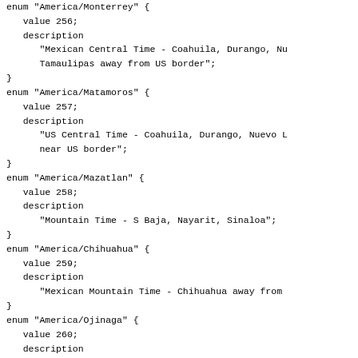enum "America/Monterrey" {
   value 256;
   description
      "Mexican Central Time - Coahuila, Durango, Nu
      Tamaulipas away from US border";
}
enum "America/Matamoros" {
   value 257;
   description
      "US Central Time - Coahuila, Durango, Nuevo L
      near US border";
}
enum "America/Mazatlan" {
   value 258;
   description
      "Mountain Time - S Baja, Nayarit, Sinaloa";
}
enum "America/Chihuahua" {
   value 259;
   description
      "Mexican Mountain Time - Chihuahua away from
}
enum "America/Ojinaga" {
   value 260;
   description
      "US Mountain Time - Chihuahua near US border"
}
enum "America/Hermosillo" {
   value 261;
   description
      "Mountain Standard Time - Sonora";